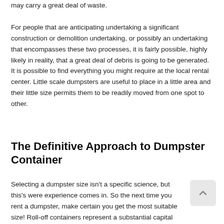may carry a great deal of waste.
For people that are anticipating undertaking a significant construction or demolition undertaking, or possibly an undertaking that encompasses these two processes, it is fairly possible, highly likely in reality, that a great deal of debris is going to be generated. It is possible to find everything you might require at the local rental center. Little scale dumpsters are useful to place in a little area and their little size permits them to be readily moved from one spot to other.
The Definitive Approach to Dumpster Container
Selecting a dumpster size isn't a specific science, but this's were experience comes in. So the next time you rent a dumpster, make certain you get the most suitable size! Roll-off containers represent a substantial capital investment for virtually any